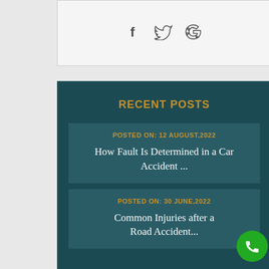[Figure (other): Social media icons: Facebook (f), Twitter (bird), Google (G) displayed in a light gray card]
RECENT POSTS
POSTED ON: 12 AUGUST,2022
How Fault Is Determined in a Car Accident ...
POSTED ON: 30 JUNE,2022
Common Injuries after a Road Accident...